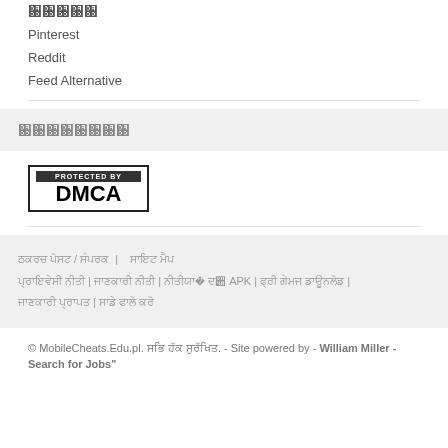Pinterest
Reddit
Feed Alternative
[Figure (logo): PROTECTED BY DMCA badge - black bordered box with white 'PROTECTED BY' text on dark background and large black 'DMCA' text]
|    
 |  |  APK |  |  
 |
© MobileCheats.Edu.pl.    . - Site powered by - William Miller - Search for Jobs"